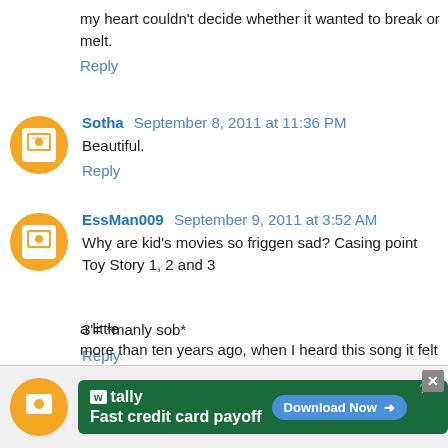my heart couldn't decide whether it wanted to break or melt.
Reply
Sotha  September 8, 2011 at 11:36 PM
Beautiful.
Reply
EssMan009  September 9, 2011 at 3:52 AM
Why are kid's movies so friggen sad? Casing point Toy Story 1, 2 and 3
3'= *manly sob*
Reply
[Figure (screenshot): Advertisement banner for Tally: Fast credit card payoff with Download Now button]
a  little more than ten years ago, when I heard this song it felt